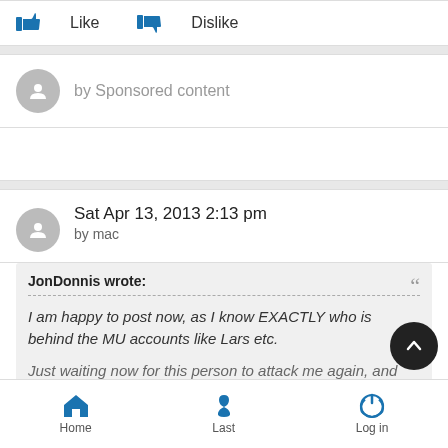[Figure (screenshot): Like and Dislike buttons with thumbs up/down icons in blue]
by Sponsored content
Sat Apr 13, 2013 2:13 pm
by mac
JonDonnis wrote:
I am happy to post now, as I know EXACTLY who is behind the MU accounts like Lars etc.

Just waiting now for this person to attack me again, and
[Figure (screenshot): Bottom navigation bar with Home, Last, and Log in icons]